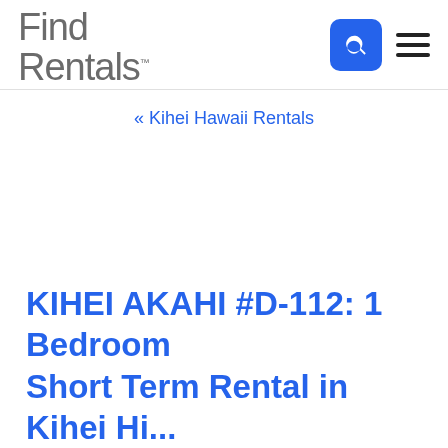Find Rentals
« Kihei Hawaii Rentals
KIHEI AKAHI #D-112: 1 Bedroom Short Term Rental in Kihei Hi...